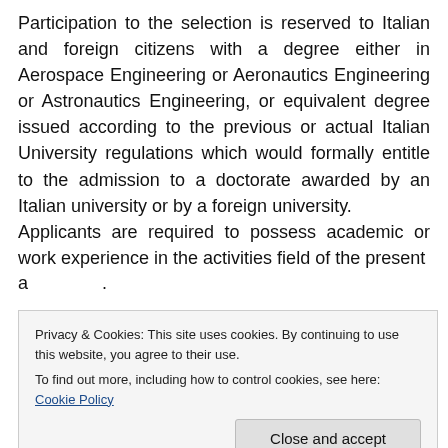Participation to the selection is reserved to Italian and foreign citizens with a degree either in Aerospace Engineering or Aeronautics Engineering or Astronautics Engineering, or equivalent degree issued according to the previous or actual Italian University regulations which would formally entitle to the admission to a doctorate awarded by an Italian university or by a foreign university.
Applicants are required to possess academic or work experience in the activities field of the present a...
Privacy & Cookies: This site uses cookies. By continuing to use this website, you agree to their use. To find out more, including how to control cookies, see here: Cookie Policy
Close and accept
s